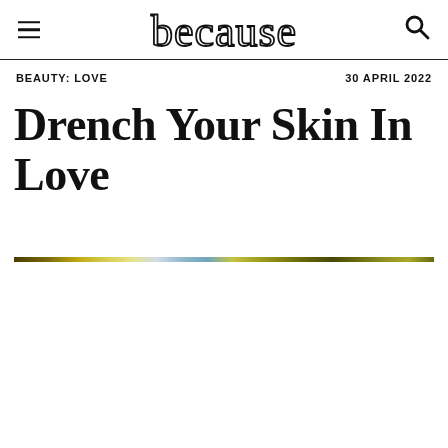because
BEAUTY: LOVE
30 APRIL 2022
Drench Your Skin In Love
[Figure (other): Decorative rainbow/iridescent horizontal rule line]